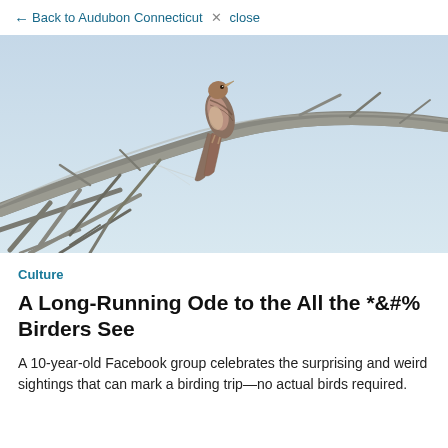← Back to Audubon Connecticut ✕ close
[Figure (photo): A bird perched on a bare, twisted dead branch against a light blue sky. The bird appears to be a swallow or similar species with brown and white plumage, photographed from below.]
Culture
A Long-Running Ode to the All the *&#% Birders See
A 10-year-old Facebook group celebrates the surprising and weird sightings that can mark a birding trip—no actual birds required.